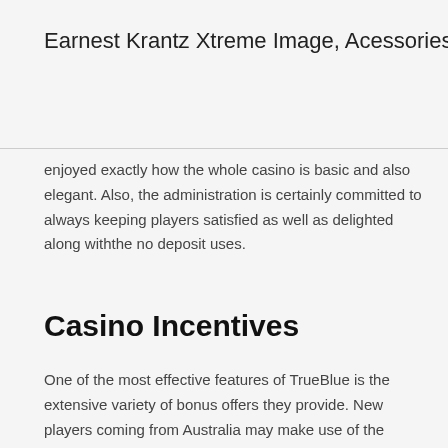Earnest Krantz Xtreme Image, Acessories, Henderson
enjoyed exactly how the whole casino is basic and also elegant. Also, the administration is certainly committed to always keeping players satisfied as well as delighted along withthe no deposit uses.
Casino Incentives
One of the most effective features of TrueBlue is the extensive variety of bonus offers they provide. New players coming from Australia may make use of the generous beginner-friendly bonus. There are no down payment and also invited benefits readily available. Furthermore, the enjoyable doesn’ t stop